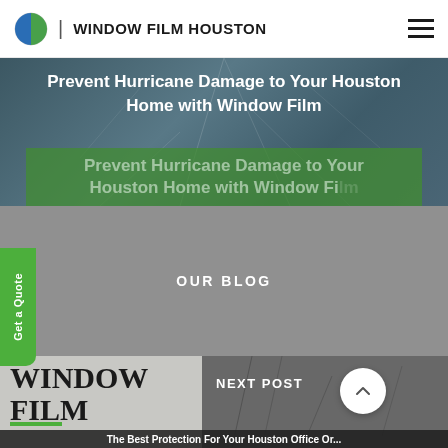WINDOW FILM HOUSTON
[Figure (screenshot): Hero banner with cracked glass background image and text 'Prevent Hurricane Damage to Your Houston Home with Window Film']
Prevent Hurricane Damage to Your Houston Home with Window Film
OUR BLOG
Get a Quote
[Figure (photo): Bottom left card showing 'WINDOW FILM' text on gray background with green underline]
NEXT POST
The Best Protection For Your Houston Office Or...